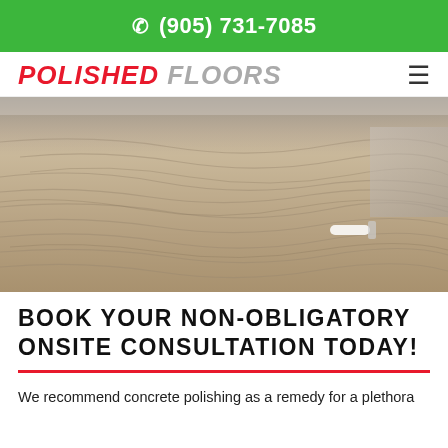(905) 731-7085
POLISHED FLOORS
[Figure (photo): Close-up photo of a polished concrete floor with swirling brown and grey patterns, showing the texture and sheen of a polished surface. A white roller/tool is visible in the right side of the image.]
BOOK YOUR NON-OBLIGATORY ONSITE CONSULTATION TODAY!
We recommend concrete polishing as a remedy for a plethora